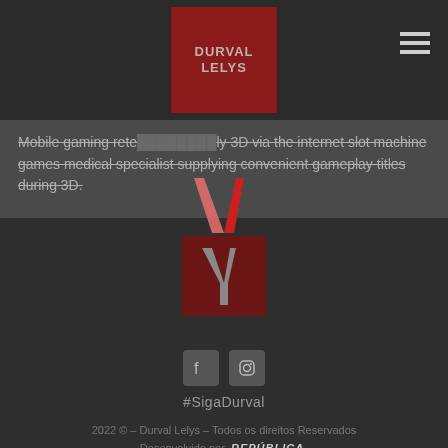Durval Lelys
Mobile gaming rete... ly 3D via the internet slot machine games medical specialist supplying convenient gameplay titles during 3D.
[Figure (logo): Durval Lelys logo with stylized Y shape in pink/red above a dark red square, with a smaller Y inside]
#SigaDurval
2022 © – Durval Lelys – Todos os direitos Reservados
Desenvolvido por REPÚBLICA.